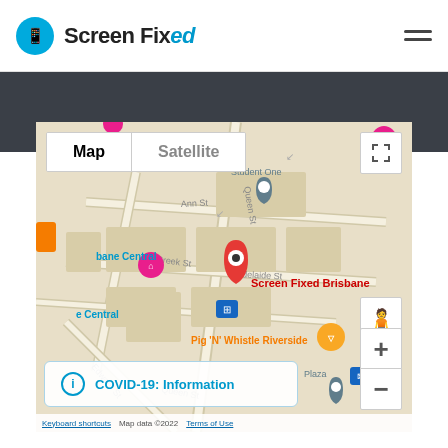[Figure (logo): Screen Fixed logo: blue circle with phone icon and 'Screen Fixed' text with 'ed' in italic blue]
[Figure (map): Google Map showing Brisbane CBD area with Screen Fixed Brisbane location marker, Map/Satellite toggle, zoom controls, pegman, and COVID-19 Information banner. Shows streets including Queen St, Ann St, Creek St, Adelaide St. Landmarks: Student One, Brisbane Central, Pig 'N' Whistle Riverside.]
Screen Fixed Brisbane
Pig 'N' Whistle Riverside
COVID-19: Information
Keyboard shortcuts  Map data ©2022  Terms of Use